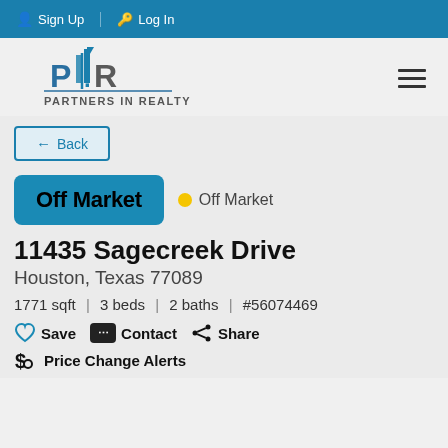Sign Up | Log In
[Figure (logo): Partners In Realty logo with stylized PIR letters and buildings]
← Back
Off Market
● Off Market
11435 Sagecreek Drive
Houston, Texas 77089
1771 sqft | 3 beds | 2 baths | #56074469
Save   Contact   Share
Price Change Alerts